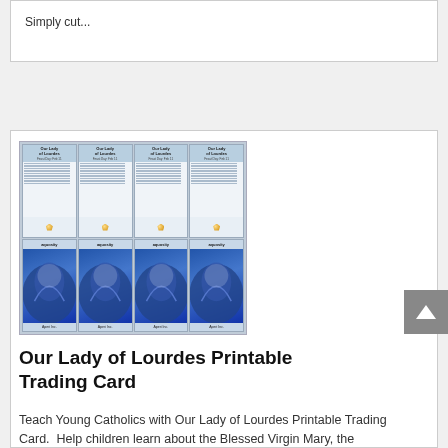Simply cut...
[Figure (illustration): Grid of Our Lady of Lourdes printable trading cards showing front (with text and gem) and back (blue Marian image) sides, arranged 4x2]
Our Lady of Lourdes Printable Trading Card
Teach Young Catholics with Our Lady of Lourdes Printable Trading Card.  Help children learn about the Blessed Virgin Mary, the Immaculate Conception, and her apparitions to St. Bernadette in